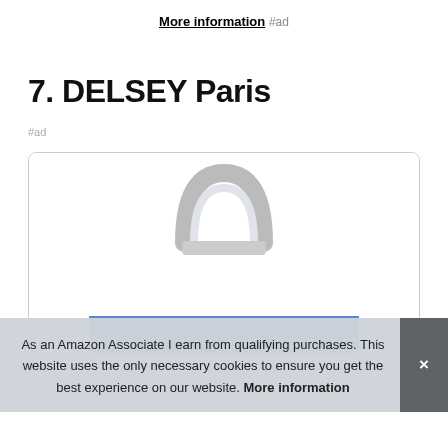More information #ad
7. DELSEY Paris
#ad
[Figure (photo): Top portion of a DELSEY Paris suitcase showing the handle and top of the luggage in light blue/silver color]
As an Amazon Associate I earn from qualifying purchases. This website uses the only necessary cookies to ensure you get the best experience on our website. More information